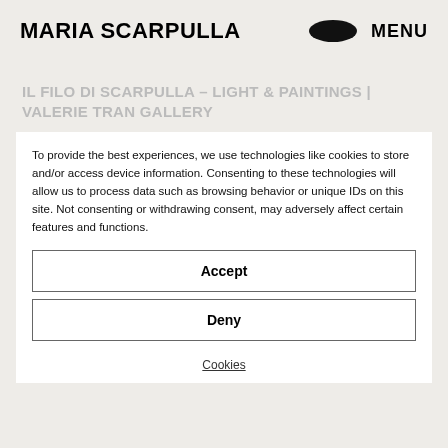MARIA SCARPULLA  MENU
IL FILO DI SCARPULLA – LIGHT & PAINTINGS |
VALERIE TRAN GALLERY
To provide the best experiences, we use technologies like cookies to store and/or access device information. Consenting to these technologies will allow us to process data such as browsing behavior or unique IDs on this site. Not consenting or withdrawing consent, may adversely affect certain features and functions.
Accept
Deny
Cookies